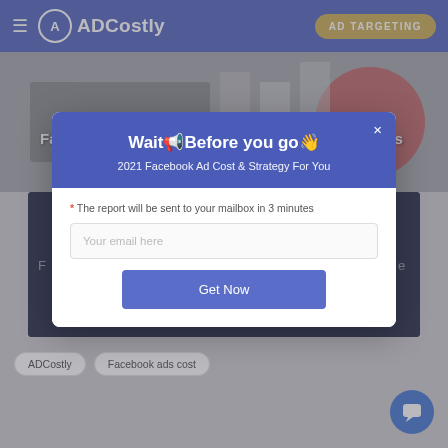ADCostly — AD TARGETING
[Figure (screenshot): Background image for Facebook Ad Benchmarks article with decorative graphics]
Facebook Ad Benchmarks For Different Publishers
[Figure (screenshot): Dark blue card background with partial text]
[Figure (screenshot): Modal popup overlay with header 'Wait Before you go!' subtitle '2021 Facebook Ad Cost & Strategy For You', email input field 'Your email here', and 'Get Now' button]
* The report will be sent to your mailbox in 3 minutes
Your email here
Get Now
ADCostly
Facebook ads cost